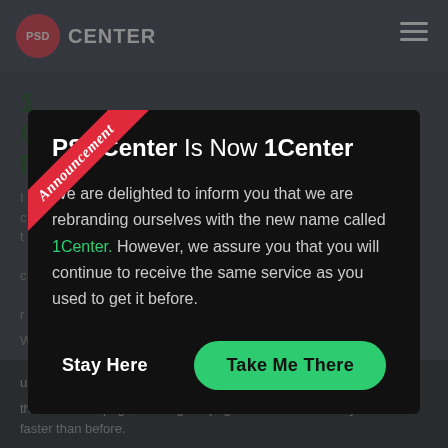PSD CENTER
[Figure (screenshot): Modal dialog on a website. Red announcement ribbon in top-left corner of the modal reads 'Announcement'. Modal title: PSDCenter Is Now 1Center. Body text explains rebranding to 1Center with same service. Two buttons: Stay Here and Take Me There (green). Background shows partial website content and a cookie notice.]
PSDCenter Is Now 1Center
We are delighted to inform you that we are rebranding ourselves with the new name called 1Center. However, we assure you that you will continue to receive the same service as you used to get it before.
Stay Here
Take Me There